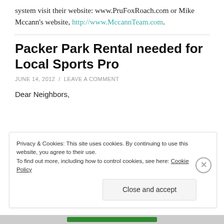system visit their website: www.PruFoxRoach.com or Mike Mccann's website, http://www.MccannTeam.com.
Packer Park Rental needed for Local Sports Pro
JUNE 14, 2012 / LEAVE A COMMENT
Dear Neighbors,
Privacy & Cookies: This site uses cookies. By continuing to use this website, you agree to their use.
To find out more, including how to control cookies, see here: Cookie Policy
Close and accept